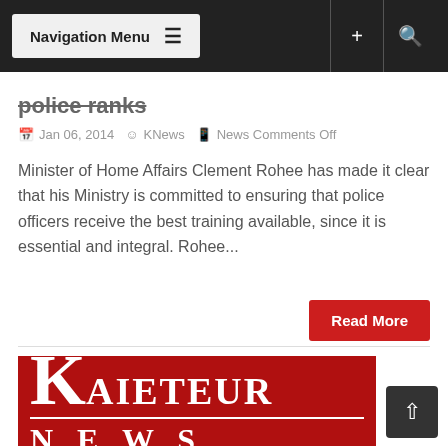Navigation Menu
police ranks
Jan 06, 2014  KNews  News Comments Off
Minister of Home Affairs Clement Rohee has made it clear that his Ministry is committed to ensuring that police officers receive the best training available, since it is essential and integral. Rohee...
Read More
[Figure (logo): Kaieteur News logo — white serif text 'KAIETEUR NEWS' on red background with large decorative K]